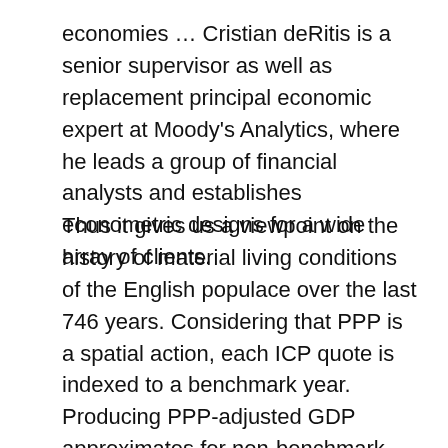economies … Cristian deRitis is a senior supervisor as well as replacement principal economic expert at Moody's Analytics, where he leads a group of financial analysts and establishes econometric designs for a wide array of clients.
Thus it gives us a viewpoint on the history of material living conditions of the English populace over the last 746 years. Considering that PPP is a spatial action, each ICP quote is indexed to a benchmark year. Producing PPP-adjusted GDP approximates for non-benchmark years needs either extrapolation of PPP-estimates from a single round of ICP data, interpolation between various rounds or a combination of the two. Projection takes the PPP-adjusted GDP in a single year and presumes that it progresses according to genuine GDP development rates or the inflation ratio of the nation of rate of interest with the United States. Interpolation